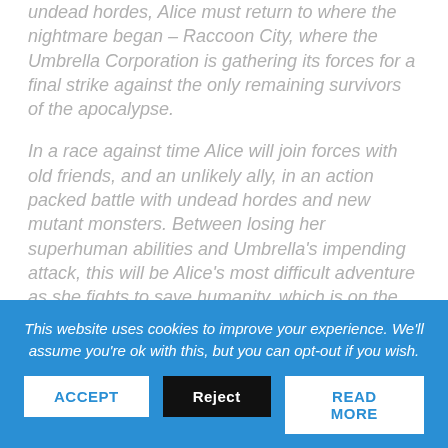undead hordes, Alice must return to where the nightmare began – Raccoon City, where the Umbrella Corporation is gathering its forces for a final strike against the only remaining survivors of the apocalypse.
In a race against time Alice will join forces with old friends, and an unlikely ally, in an action packed battle with undead hordes and new mutant monsters. Between losing her superhuman abilities and Umbrella's impending attack, this will be Alice's most difficult adventure as she fights to save humanity, which is on the brink of oblivion."
The cast includes Ali Larter, Milla Jovovich, Iain Glen, Shawn Roberts, Ruby Rose, Eoin Macken, William Levy, Fraser James and Japanese model and TV personality,
This website uses cookies to improve your experience. We'll assume you're ok with this, but you can opt-out if you wish.
ACCEPT
Reject
READ MORE